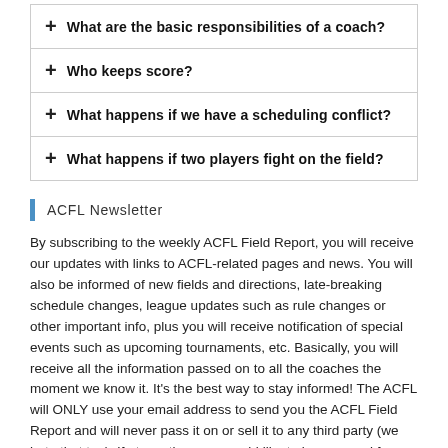+ What are the basic responsibilities of a coach?
+ Who keeps score?
+ What happens if we have a scheduling conflict?
+ What happens if two players fight on the field?
ACFL Newsletter
By subscribing to the weekly ACFL Field Report, you will receive our updates with links to ACFL-related pages and news. You will also be informed of new fields and directions, late-breaking schedule changes, league updates such as rule changes or other important info, plus you will receive notification of special events such as upcoming tournaments, etc. Basically, you will receive all the information passed on to all the coaches the moment we know it. It's the best way to stay informed! The ACFL will ONLY use your email address to send you the ACFL Field Report and will never pass it on or sell it to any third party (we hate that too). If at any time you would like to be removed from the Field Report...